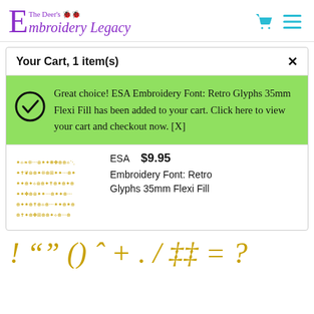The Deer's Embroidery Legacy
Your Cart, 1 item(s)
Great choice! ESA Embroidery Font: Retro Glyphs 35mm Flexi Fill has been added to your cart. Click here to view your cart and checkout now. [X]
[Figure (photo): Product thumbnail showing decorative embroidery glyphs/symbols in gold color arranged in rows]
ESA   $9.95
Embroidery Font: Retro Glyphs 35mm Flexi Fill
[Figure (illustration): Decorative gold embroidery glyph characters: ! " " ' ( ) ^ + . / ‡ ‡ = ?]